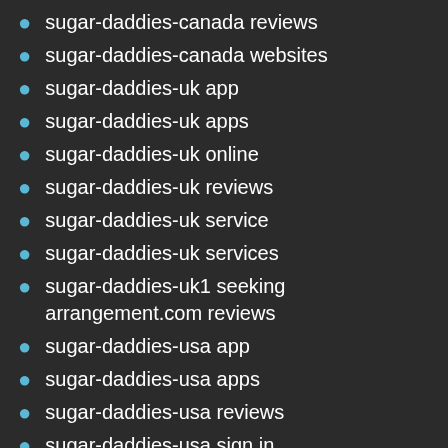sugar-daddies-canada reviews
sugar-daddies-canada websites
sugar-daddies-uk app
sugar-daddies-uk apps
sugar-daddies-uk online
sugar-daddies-uk reviews
sugar-daddies-uk service
sugar-daddies-uk services
sugar-daddies-uk1 seeking arrangement.com reviews
sugar-daddies-usa app
sugar-daddies-usa apps
sugar-daddies-usa reviews
sugar-daddies-usa sign in
sugar-daddies-usa site